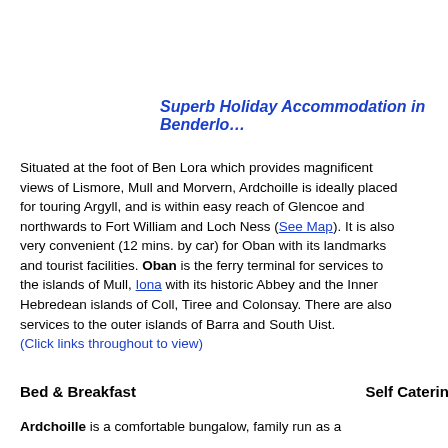Superb Holiday Accommodation in Benderloc…
Situated at the foot of Ben Lora which provides magnificent views of Lismore, Mull and Morvern, Ardchoille is ideally placed for touring Argyll, and is within easy reach of Glencoe and northwards to Fort William and Loch Ness (See Map). It is also very convenient (12 mins. by car) for Oban with its landmarks and tourist facilities. Oban is the ferry terminal for services to the islands of Mull, Iona with its historic Abbey and the Inner Hebredean islands of Coll, Tiree and Colonsay. There are also services to the outer islands of Barra and South Uist.
(Click links throughout to view)
Bed & Breakfast
Self Catering
Ardchoille is a comfortable bungalow, family run as a
Ardchoille Ga…